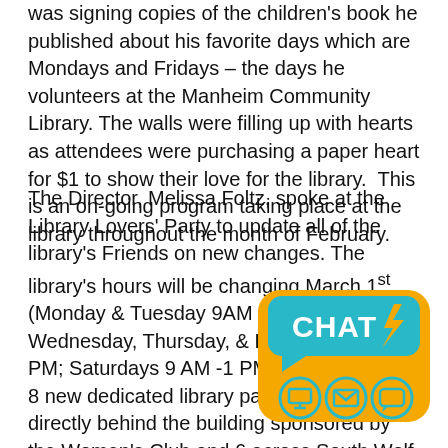was signing copies of the children's book he published about his favorite days which are Mondays and Fridays – the days he volunteers at the Manheim Community Library. The walls were filling up with hearts as attendees were purchasing a paper heart for $1 to show their love for the library. This is an on-going program taking place at the library throughout the month of February.
The Director, Melissa Foltz, spoke at the Library Lovers' Party to update all of the library's Friends on new changes. The library's hours will be changing March 1st (Monday & Tuesday 9AM – 8PM; Wednesday, Thursday, & Friday 9 AM – 5 PM; Saturdays 9 AM -1 PM). The library has 8 new dedicated library parking spots, 2 directly behind the building sponsored by the Women's Club and 6 across South Wolf street in the parking lot by Teen Central. The [library hired] Raven Eckman as their new Community Rela[tions] Coordinator starting March 27th.
[Figure (logo): CHAT widget button with orange rounded rectangle background, teal speech bubble with CHAT text and lightning bolt, and three circular icons at the bottom]